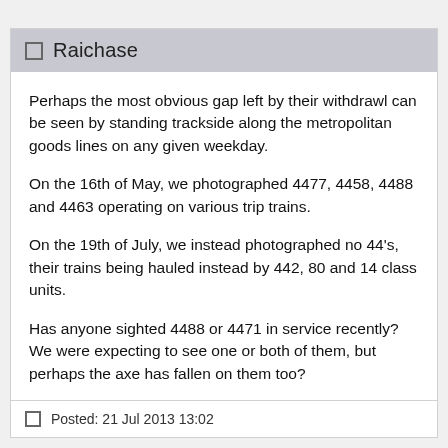Raichase
Perhaps the most obvious gap left by their withdrawl can be seen by standing trackside along the metropolitan goods lines on any given weekday.
On the 16th of May, we photographed 4477, 4458, 4488 and 4463 operating on various trip trains.
On the 19th of July, we instead photographed no 44's, their trains being hauled instead by 442, 80 and 14 class units.
Has anyone sighted 4488 or 4471 in service recently? We were expecting to see one or both of them, but perhaps the axe has fallen on them too?
Posted: 21 Jul 2013 13:02